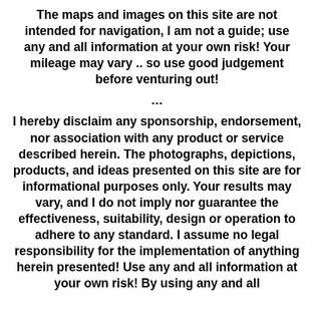The maps and images on this site are not intended for navigation, I am not a guide; use any and all information at your own risk! Your mileage may vary .. so use good judgement before venturing out!
...
I hereby disclaim any sponsorship, endorsement, nor association with any product or service described herein. The photographs, depictions, products, and ideas presented on this site are for informational purposes only. Your results may vary, and I do not imply nor guarantee the effectiveness, suitability, design or operation to adhere to any standard. I assume no legal responsibility for the implementation of anything herein presented! Use any and all information at your own risk! By using any and all